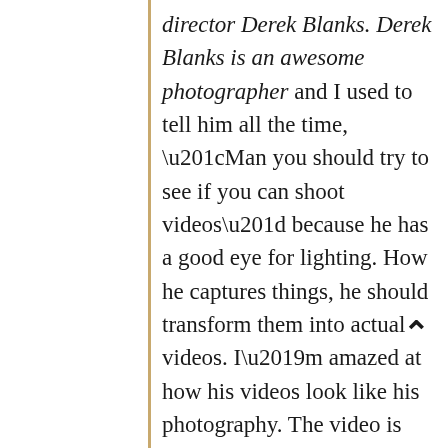director Derek Blanks. Derek Blanks is an awesome photographer and I used to tell him all the time, “Man you should try to see if you can shoot videos” because he has a good eye for lighting. How he captures things, he should transform them into actual videos. I’m amazed at how his videos look like his photography. The video is going to be absolutely amazing.
On how has the response been